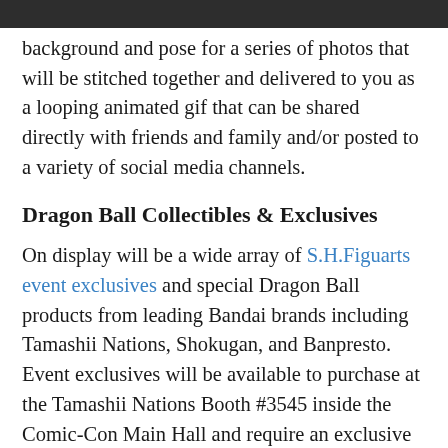background and pose for a series of photos that will be stitched together and delivered to you as a looping animated gif that can be shared directly with friends and family and/or posted to a variety of social media channels.
Dragon Ball Collectibles & Exclusives
On display will be a wide array of S.H.Figuarts event exclusives and special Dragon Ball products from leading Bandai brands including Tamashii Nations, Shokugan, and Banpresto. Event exclusives will be available to purchase at the Tamashii Nations Booth #3545 inside the Comic-Con Main Hall and require an exclusive merchandise time slot issued by San Diego Comic-Con to purchase.